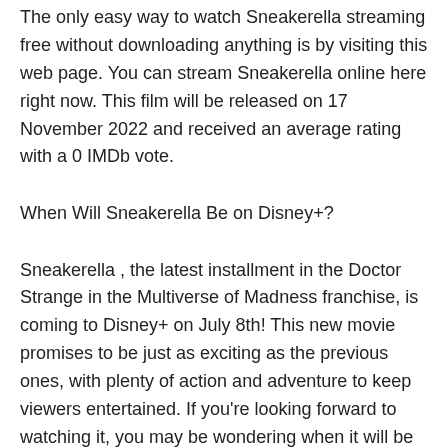The only easy way to watch Sneakerella streaming free without downloading anything is by visiting this web page. You can stream Sneakerella online here right now. This film will be released on 17 November 2022 and received an average rating with a 0 IMDb vote.
When Will Sneakerella Be on Disney+?
Sneakerella , the latest installment in the Doctor Strange in the Multiverse of Madness franchise, is coming to Disney+ on July 8th! This new movie promises to be just as exciting as the previous ones, with plenty of action and adventure to keep viewers entertained. If you're looking forward to watching it, you may be wondering when it will be available for your Disney+subscription. Here's an answer to